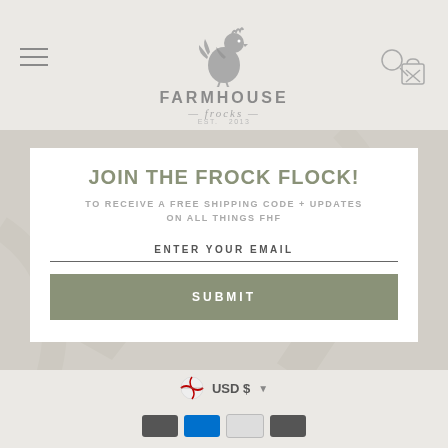[Figure (logo): Farmhouse Frocks logo with rooster silhouette, est. 2013, text FARMHOUSE frocks in gray]
JOIN THE FROCK FLOCK!
TO RECEIVE A FREE SHIPPING CODE + UPDATES ON ALL THINGS FHF
ENTER YOUR EMAIL
SUBMIT
USD $
[Figure (other): Payment method icons at bottom]